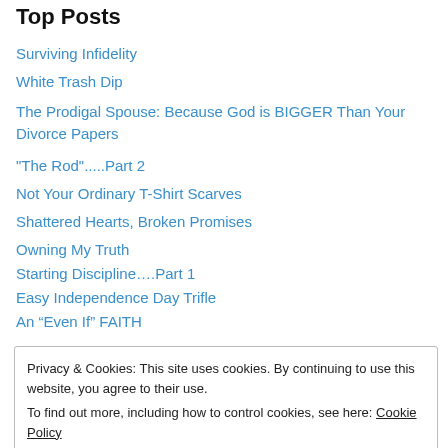Top Posts
Surviving Infidelity
White Trash Dip
The Prodigal Spouse: Because God is BIGGER Than Your Divorce Papers
"The Rod".....Part 2
Not Your Ordinary T-Shirt Scarves
Shattered Hearts, Broken Promises
Owning My Truth
Starting Discipline….Part 1
Easy Independence Day Trifle
An “Even If” FAITH
Privacy & Cookies: This site uses cookies. By continuing to use this website, you agree to their use.
To find out more, including how to control cookies, see here: Cookie Policy